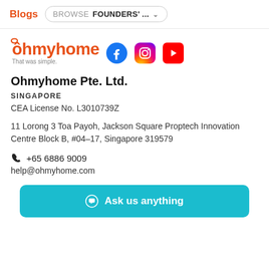Blogs  BROWSE  FOUNDERS'...
[Figure (logo): Ohmyhome logo with tagline 'That was simple.' and social media icons for Facebook, Instagram, and YouTube]
Ohmyhome Pte. Ltd.
SINGAPORE
CEA License No. L3010739Z
11 Lorong 3 Toa Payoh, Jackson Square Proptech Innovation Centre Block B, #04–17, Singapore 319579
+65 6886 9009
help@ohmyhome.com